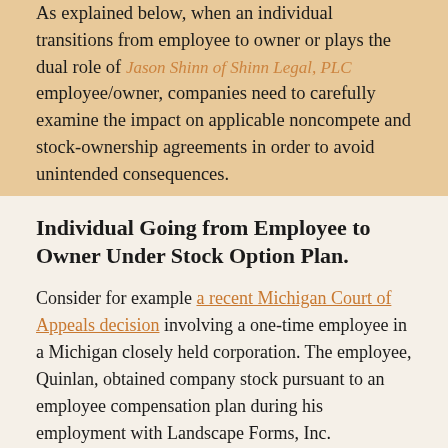As explained below, when an individual transitions from employee to owner or plays the dual role of employee/owner, companies need to carefully examine the impact on applicable noncompete and stock-ownership agreements in order to avoid unintended consequences.
Individual Going from Employee to Owner Under Stock Option Plan.
Consider for example a recent Michigan Court of Appeals decision involving a one-time employee in a Michigan closely held corporation. The employee, Quinlan, obtained company stock pursuant to an employee compensation plan during his employment with Landscape Forms, Inc.
The stock purchase agreements Quinlan entered into contained noncompetition provisions restricting Landscape shareholders from competing with Landscape